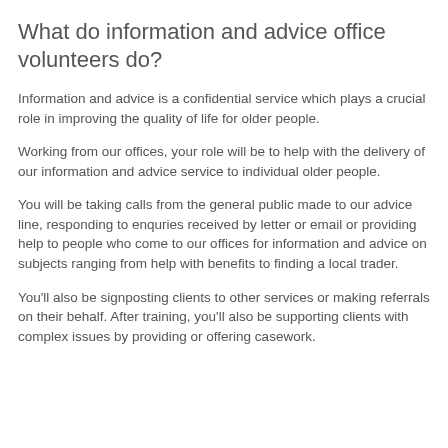What do information and advice office volunteers do?
Information and advice is a confidential service which plays a crucial role in improving the quality of life for older people.
Working from our offices, your role will be to help with the delivery of our information and advice service to individual older people.
You will be taking calls from the general public made to our advice line, responding to enquries received by letter or email or providing help to people who come to our offices for information and advice on subjects ranging from help with benefits to finding a local trader.
You'll also be signposting clients to other services or making referrals on their behalf. After training, you'll also be supporting clients with complex issues by providing or offering casework.